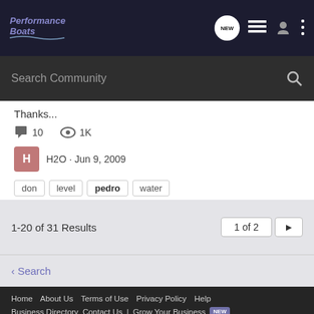Performance Boats
Search Community
Thanks...
10 replies · 1K views
H2O · Jun 9, 2009
don
level
pedro
water
1-20 of 31 Results
1 of 2
< Search
Home  About Us  Terms of Use  Privacy Policy  Help  Business Directory  Contact Us  |  Grow Your Business  NEW